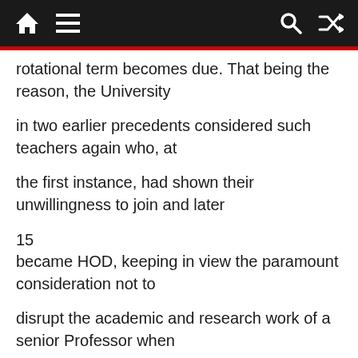Home | Menu | Search | Shuffle
rotational term becomes due. That being the reason, the University
in two earlier precedents considered such teachers again who, at
the first instance, had shown their unwillingness to join and later
15
became HOD, keeping in view the paramount consideration not to
disrupt the academic and research work of a senior Professor when
his turn arises and if he has shown unwillingness, his seniority has